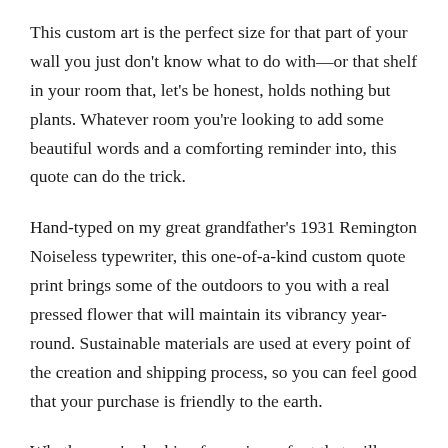This custom art is the perfect size for that part of your wall you just don't know what to do with—or that shelf in your room that, let's be honest, holds nothing but plants. Whatever room you're looking to add some beautiful words and a comforting reminder into, this quote can do the trick.
Hand-typed on my great grandfather's 1931 Remington Noiseless typewriter, this one-of-a-kind custom quote print brings some of the outdoors to you with a real pressed flower that will maintain its vibrancy year-round. Sustainable materials are used at every point of the creation and shipping process, so you can feel good that your purchase is friendly to the earth.
Whether you're looking for a piece of art that will bring powerful reminders to you or to a loved one, everything at flora